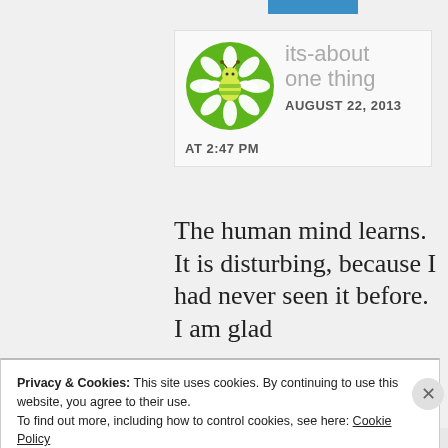[Figure (logo): its-about-one-thing blog logo with green circle daisy/bee icon and site name, date AUGUST 22, 2013 AT 2:47 PM]
The human mind learns. It is disturbing, because I had never seen it before. I am glad
Privacy & Cookies: This site uses cookies. By continuing to use this website, you agree to their use.
To find out more, including how to control cookies, see here: Cookie Policy
Close and accept